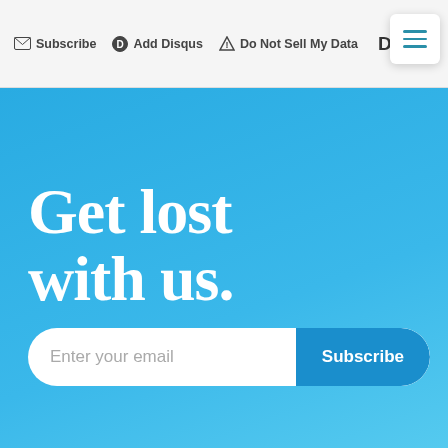Subscribe  Add Disqus  Do Not Sell My Data  DISQ
Get lost with us.
Enter your email  Subscribe